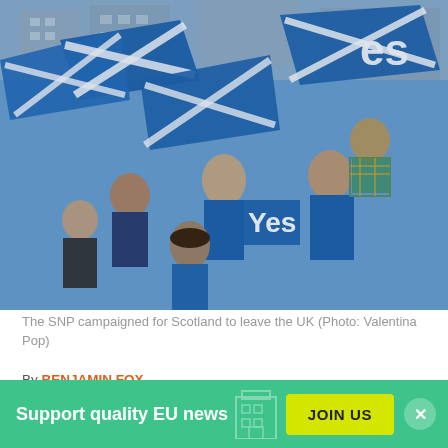[Figure (photo): Crowd of people waving blue Scottish independence 'Yes' flags and Saltire flags in an urban setting, campaign rally photo by Valentina Pop]
The SNP campaigned for Scotland to leave the UK (Photo: Valentina Pop)
By BENJAMIN FOX
BRUSSELS, 30. APR 2015, 09:26
The Scottish Nationalist Party is poised to hold the balance of power following next week's UK elections
Support quality EU news  JOIN US